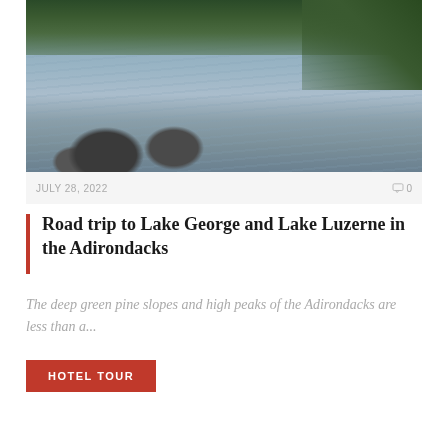[Figure (photo): Photograph of a rocky river or stream with boulders in the foreground, calm flowing water, and dense green pine forest on the banks and background.]
JULY 28, 2022   0
Road trip to Lake George and Lake Luzerne in the Adirondacks
The deep green pine slopes and high peaks of the Adirondacks are less than a...
HOTEL TOUR